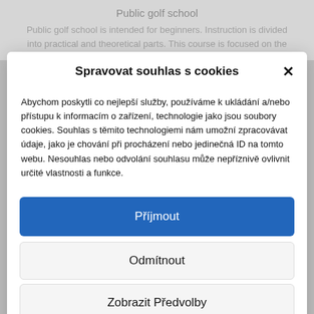Public golf school
Public golf school is intended for beginners. Instruction is divided into practical and theoretical parts. This course is focused on the
Spravovat souhlas s cookies
Abychom poskytli co nejlepší služby, používáme k ukládání a/nebo přístupu k informacím o zařízení, technologie jako jsou soubory cookies. Souhlas s těmito technologiemi nám umožní zpracovávat údaje, jako je chování při procházení nebo jedinečná ID na tomto webu. Nesouhlas nebo odvolání souhlasu může nepříznivě ovlivnit určité vlastnosti a funkce.
Příjmout
Odmítnout
Zobrazit Předvolby
Zásady cookies